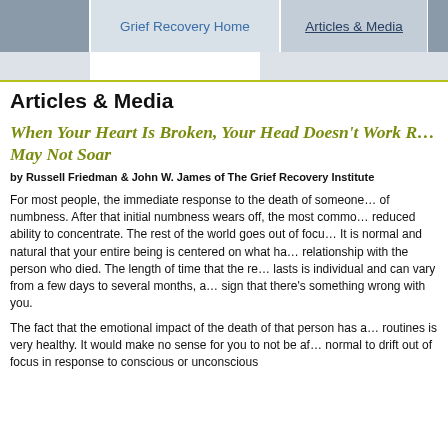Grief Recovery Home | Articles & Media
Articles & Media
When Your Heart Is Broken, Your Head Doesn't Work Right and Your Spirit May Not Soar
by Russell Friedman & John W. James of The Grief Recovery Institute
For most people, the immediate response to the death of someone is a period of numbness. After that initial numbness wears off, the most common response is a reduced ability to concentrate. The rest of the world goes out of focus. It is normal and natural that your entire being is centered on what happened and your relationship with the person who died. The length of time that the reduced concentration lasts is individual and can vary from a few days to several months, and is not a sign that there's something wrong with you.
The fact that the emotional impact of the death of that person has affected your routines is very healthy. It would make no sense for you to not be affected. It is normal to drift out of focus in response to conscious or unconscious